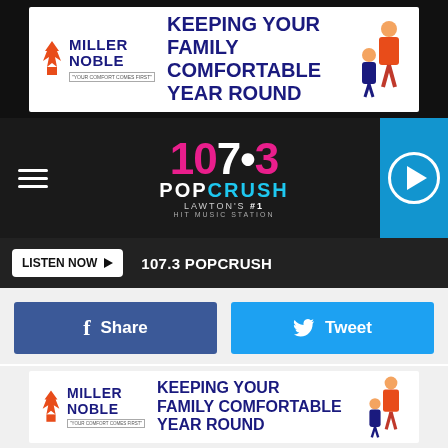[Figure (other): Miller Noble advertisement banner: 'KEEPING YOUR FAMILY COMFORTABLE YEAR ROUND']
[Figure (logo): 107.3 PopCrush Lawton's #1 Hit Music Station logo with navigation bar and play button]
[Figure (other): Listen Now button with 107.3 POPCRUSH text on dark bar]
[Figure (other): Share and Tweet social media buttons]
announced a surprise new album.
On Thursday (June 16), Drake sent shockwaves through the internet after announcing he will be dropping an album at midnight tonight (June 17). The new album, Drake's seventh solo LP, is called Honestly, Nevermind and comes less than nine months after the release of his most recent album, Certified Lover Boy
[Figure (other): Miller Noble advertisement banner at bottom: 'KEEPING YOUR FAMILY COMFORTABLE YEAR ROUND']